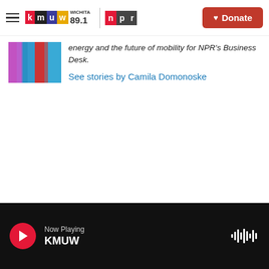KMUW Wichita 89.1 | NPR — Donate
[Figure (screenshot): Colorful striped author photo thumbnail (partially visible)]
energy and the future of mobility for NPR's Business Desk.
See stories by Camila Domonoske
Now Playing KMUW